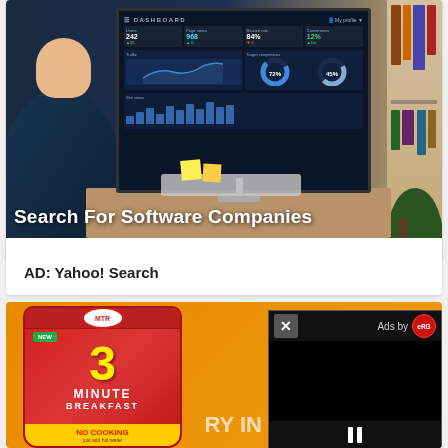[Figure (screenshot): Advertisement image showing a person working at a computer with a dashboard analytics screen. Text overlay reads 'Search For Software Companies']
AD: Yahoo! Search
[Figure (photo): Advertisement for MTR 3 Minute Breakfast product - red packaging on orange background with 'NO COOKING just add hot water' text, partially covered by a video ad overlay popup showing 'Ads by eRG' with close (X) button and pause (II) button]